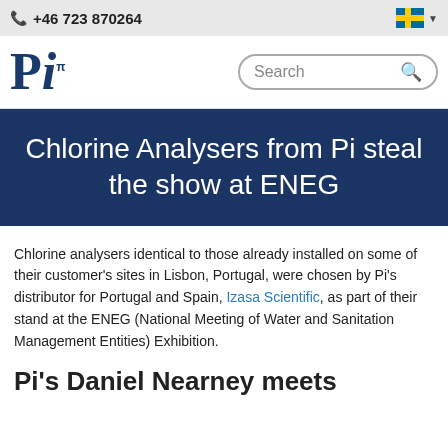+46 723 870264
[Figure (logo): Pi logo with pi symbol superscript in dark blue serif font]
Chlorine Analysers from Pi steal the show at ENEG
Chlorine analysers identical to those already installed on some of their customer's sites in Lisbon, Portugal, were chosen by Pi's distributor for Portugal and Spain, Izasa Scientific, as part of their stand at the ENEG (National Meeting of Water and Sanitation Management Entities) Exhibition.
Pi's Daniel Nearney meets